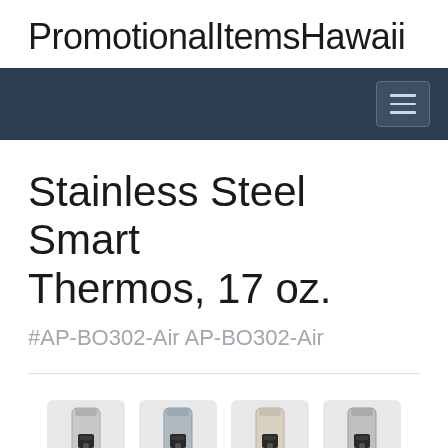PromotionalItemsHawaii
Stainless Steel Smart Thermos, 17 oz.
#AP-BO302-Air AP-BO302-Air
[Figure (photo): Row of stainless steel smart thermos product images in various colors, partially visible at the bottom of the page]